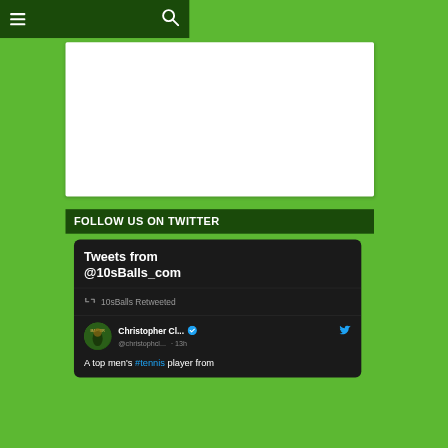[Figure (screenshot): Dark green navigation bar with hamburger menu icon on left and search icon on right]
[Figure (screenshot): White content card/advertisement area]
FOLLOW US ON TWITTER
[Figure (screenshot): Twitter widget showing tweets from @10sBalls_com. Contains a retweet from 10sBalls Retweeted showing Christopher Cl... @christophcl... · 13h with verified badge. Tweet text: A top men's #tennis player from...]